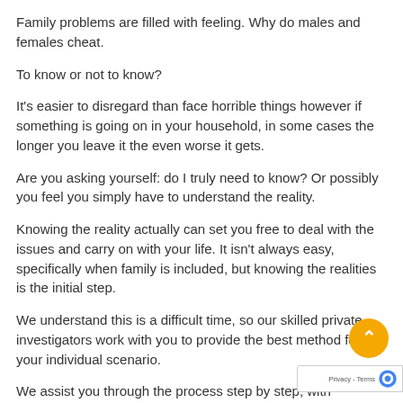Family problems are filled with feeling. Why do males and females cheat.
To know or not to know?
It's easier to disregard than face horrible things however if something is going on in your household, in some cases the longer you leave it the even worse it gets.
Are you asking yourself: do I truly need to know? Or possibly you feel you simply have to understand the reality.
Knowing the reality actually can set you free to deal with the issues and carry on with your life. It isn't always easy, specifically when family is included, but knowing the realities is the initial step.
We understand this is a difficult time, so our skilled private investigators work with you to provide the best method for your individual scenario.
We assist you through the process step by step, with